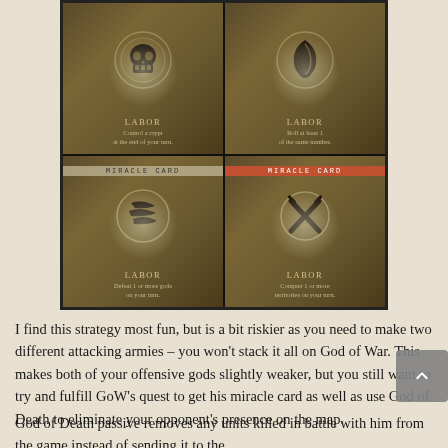[Figure (illustration): Four game cards in a 2x2 grid. Top-left: card with skull icon, LABOR, 'Control a crypt at the end of your turn.' Top-right: card with feather/leaf icon, LABOR, 'Roll at least 1 of the same number.' Bottom-left: Miracle Card with wind/flag icon, LABOR, 'Defeat 1 or more gods on your turn.' Bottom-right: Miracle Card (red banner) with crossed swords icon, LABOR, 'Conquer 1 or more territories on your turn.']
I find this strategy most fun, but is a bit riskier as you need to make two different attacking armies – you won't stack it all on God of War. This makes both of your offensive gods slightly weaker, but you still want to try and fulfill GoW's quest to get his miracle card as well as use God of Death to eliminate your opponent's presence on the map.
God of Death passive removes any units killed in battle with him from the game instead of sending it to the